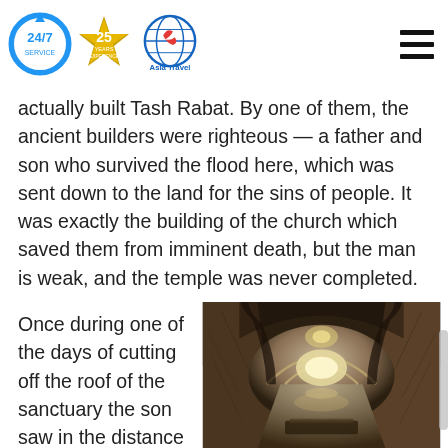Asia Travel — 24/7 Service, 25 Years
actually built Tash Rabat. By one of them, the ancient builders were righteous — a father and son who survived the flood here, which was sent down to the land for the sins of people. It was exactly the building of the church which saved them from imminent death, but the man is weak, and the temple was never completed.
Once during one of the days of cutting off the roof of the sanctuary the son saw in the distance passing caravan and asked his father to go to hear the news. The father let his son,
[Figure (photo): Interior corridor of Tash Rabat stone caravanserai with arched vaulted ceiling and stone walls, lit from above through openings, looking down a long passageway with a stone platform or step in the foreground.]